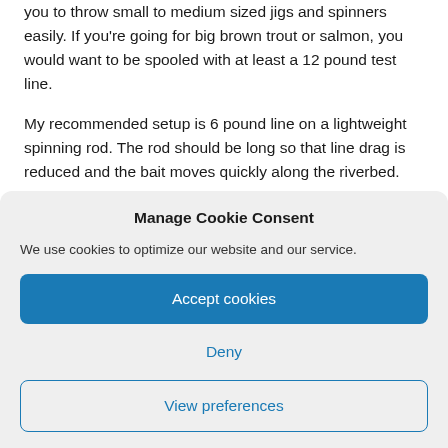you to throw small to medium sized jigs and spinners easily. If you're going for big brown trout or salmon, you would want to be spooled with at least a 12 pound test line.
My recommended setup is 6 pound line on a lightweight spinning rod. The rod should be long so that line drag is reduced and the bait moves quickly along the riverbed.
Manage Cookie Consent
We use cookies to optimize our website and our service.
Accept cookies
Deny
View preferences